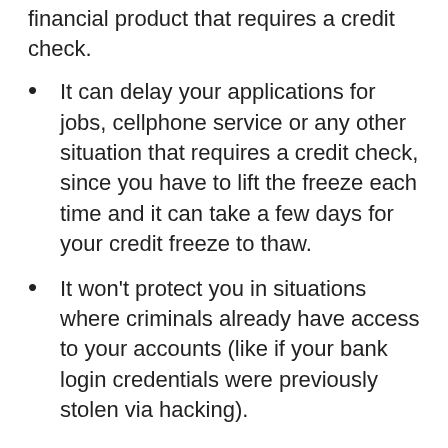financial product that requires a credit check.
It can delay your applications for jobs, cellphone service or any other situation that requires a credit check, since you have to lift the freeze each time and it can take a few days for your credit freeze to thaw.
It won't protect you in situations where criminals already have access to your accounts (like if your bank login credentials were previously stolen via hacking).
Bottom line
Freezing your citation is an effective, cost-free direction to make it harder for thieves to open up credit cards or early fiscal accounts in your appoint. It besides can keep...